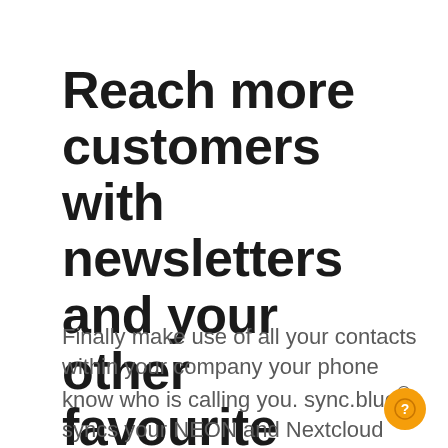Reach more customers with newsletters and your other favourite marketing tools
Finally make use of all your contacts within your company your phone know who is calling you. sync.blue® syncs your NEON and Nextcloud contacts by